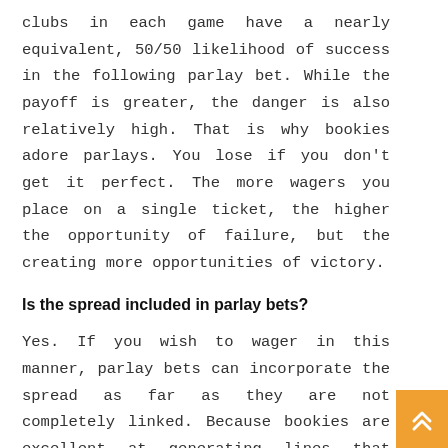clubs in each game have a nearly equivalent, 50/50 likelihood of success in the following parlay bet. While the payoff is greater, the danger is also relatively high. That is why bookies adore parlays. You lose if you don't get it perfect. The more wagers you place on a single ticket, the higher the opportunity of failure, but the creating more opportunities of victory.
Is the spread included in parlay bets?
Yes. If you wish to wager in this manner, parlay bets can incorporate the spread as far as they are not completely linked. Because bookies are excellent at generating lines that typically mirror the